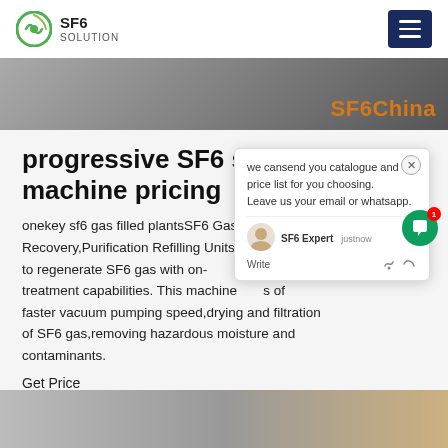SF6 SOLUTION
[Figure (photo): Hero banner image strip showing outdoor industrial ground, with SF6China watermark text in orange on the right]
progressive SF6 servi 231 os machine pricing
onekey sf6 gas filled plantsSF6 Gas Recovery,Purification Refilling Units em to regenerate SF6 gas with on- treatment capabilities. This machine s of faster vacuum pumping speed,drying and filtration of SF6 gas,removing hazardous moisture and contaminants.
Get Price
[Figure (screenshot): Chat popup overlay: 'we cansend you catalogue and price list for you choosing. Leave us your email or whatsapp.' with SF6 Expert agent avatar, 'justnow' timestamp, Write field with emoji icons. Green chat bubble button with badge showing 1.]
[Figure (photo): Bottom strip showing industrial equipment images]